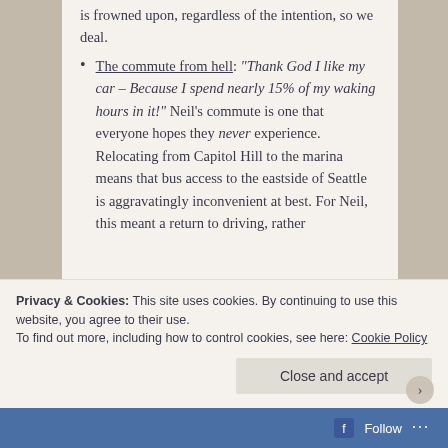is frowned upon, regardless of the intention, so we deal.
The commute from hell: "Thank God I like my car – Because I spend nearly 15% of my waking hours in it!" Neil's commute is one that everyone hopes they never experience. Relocating from Capitol Hill to the marina means that bus access to the eastside of Seattle is aggravatingly inconvenient at best. For Neil, this meant a return to driving, rather
Privacy & Cookies: This site uses cookies. By continuing to use this website, you agree to their use.
To find out more, including how to control cookies, see here: Cookie Policy
Close and accept
Follow